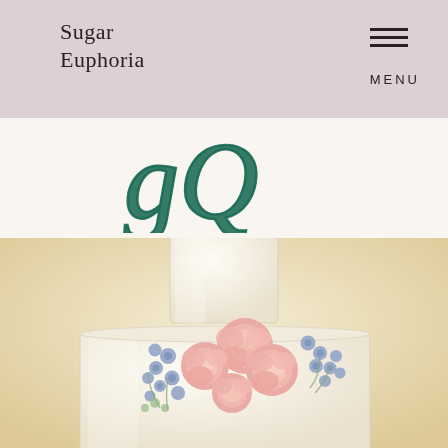Sugar Euphoria  MENU
[Figure (illustration): Decorative cursive script letters in dark teal/green, partially visible, forming part of a word or monogram]
[Figure (photo): Close-up photograph of a white tiered wedding cake decorated with pink garden roses and blue delphinium flowers against a warm cream/beige background]